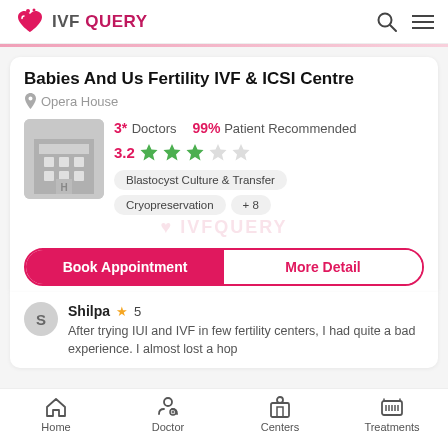IVF QUERY
Babies And Us Fertility IVF & ICSI Centre
Opera House
3* Doctors   99% Patient Recommended
3.2 (rating, 3 filled stars, 2 empty)
Blastocyst Culture & Transfer
Cryopreservation   +8
Book Appointment   More Detail
Shilpa ★ 5
After trying IUI and IVF in few fertility centers, I had quite a bad experience. I almost lost a hop
Home   Doctor   Centers   Treatments